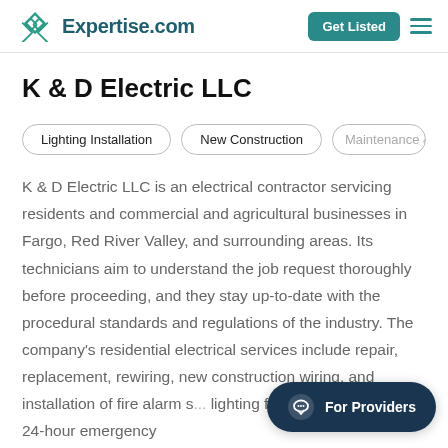Expertise.com
K & D Electric LLC
Lighting Installation
New Construction
Maintenance & R
K & D Electric LLC is an electrical contractor servicing residents and commercial and agricultural businesses in Fargo, Red River Valley, and surrounding areas. Its technicians aim to understand the job request thoroughly before proceeding, and they stay up-to-date with the procedural standards and regulations of the industry. The company's residential electrical services include repair, replacement, rewiring, new construction wiring, and installation of fire alarm s... lighting fixtures. It also offers 24-hour emergency
For Providers